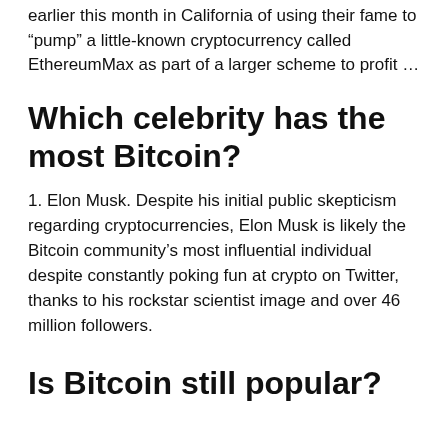earlier this month in California of using their fame to “pump” a little-known cryptocurrency called EthereumMax as part of a larger scheme to profit …
Which celebrity has the most Bitcoin?
1. Elon Musk. Despite his initial public skepticism regarding cryptocurrencies, Elon Musk is likely the Bitcoin community’s most influential individual despite constantly poking fun at crypto on Twitter, thanks to his rockstar scientist image and over 46 million followers.
Is Bitcoin still popular?